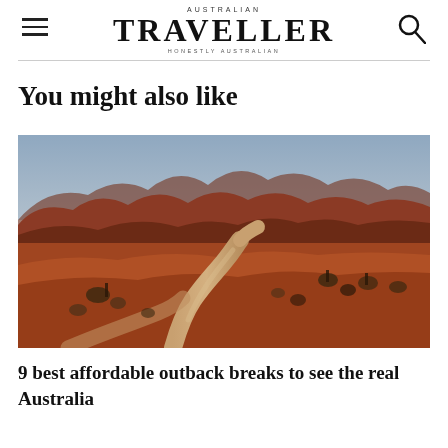AUSTRALIAN TRAVELLER — HONESTLY AUSTRALIAN
You might also like
[Figure (photo): A winding red dirt road through the Australian outback with rugged red mountains and sparse scrubby trees under a blue-grey sky]
9 best affordable outback breaks to see the real Australia